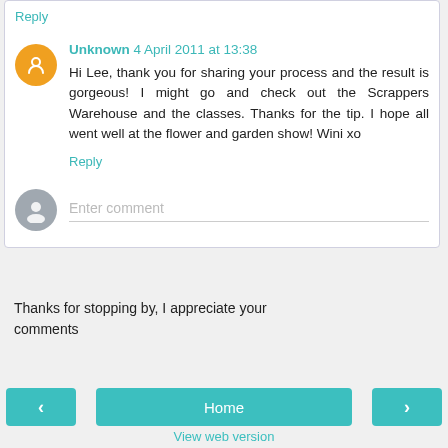Reply
Unknown 4 April 2011 at 13:38
Hi Lee, thank you for sharing your process and the result is gorgeous! I might go and check out the Scrappers Warehouse and the classes. Thanks for the tip. I hope all went well at the flower and garden show! Wini xo
Reply
Enter comment
Thanks for stopping by, I appreciate your comments
Home
View web version